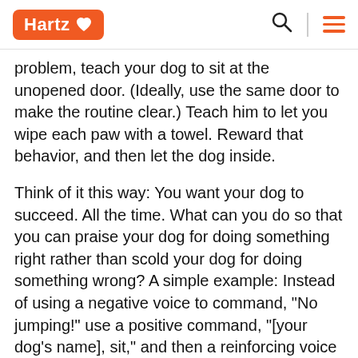Hartz
problem, teach your dog to sit at the unopened door. (Ideally, use the same door to make the routine clear.) Teach him to let you wipe each paw with a towel. Reward that behavior, and then let the dog inside.
Think of it this way: You want your dog to succeed. All the time. What can you do so that you can praise your dog for doing something right rather than scold your dog for doing something wrong? A simple example: Instead of using a negative voice to command, "No jumping!" use a positive command, "[your dog's name], sit," and then a reinforcing voice when your dog obeys. Turn an undesirable behavior into a desired one. You begin to see what to reward the...